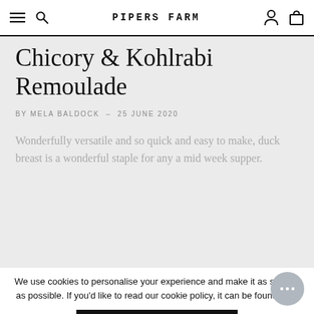PIPERS FARM
Chicory & Kohlrabi Remoulade
BY MELA BALDOCK – 25 JUNE 2020
Wonderfully versatile and so quick and easy to make, duck breast is a wonderful staple for any a mid week supper.
We use cookies to personalise your experience and make it as smooth as possible. If you'd like to read our cookie policy, it can be found here
ACCEPT & CLOSE